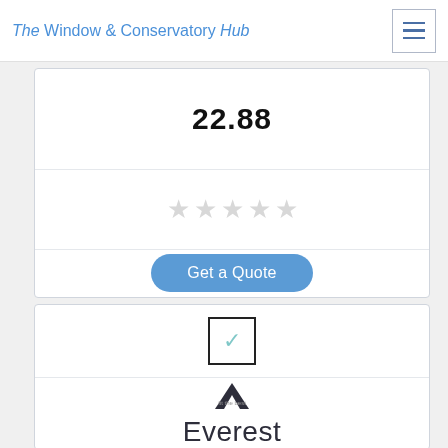The Window & Conservatory Hub
22.88
[Figure (other): Five empty/grey star rating icons]
Get a Quote
[Figure (other): Checkbox with a checkmark (blue/teal color)]
[Figure (logo): Everest logo — mountain peak icon above the word 'Everest' with tagline 'fit the best']